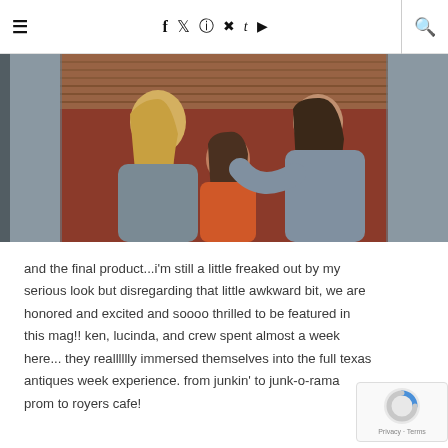≡  f  t  instagram  pinterest  tumblr  youtube  🔍
[Figure (photo): Three women outdoors near a rustic red barn with a corrugated metal roof. One woman with long blonde hair in a grey hoodie stands on the left, a woman in orange is seated in the middle, and another woman with dark curly hair in a grey hoodie stands on the right touching the middle woman's hair.]
and the final product...i'm still a little freaked out by my serious look but disregarding that little awkward bit, we are honored and excited and soooo thrilled to be featured in this mag!! ken, lucinda, and crew spent almost a week here... they realllllly immersed themselves into the full texas antiques week experience. from junkin' to junk-o-rama prom to royers cafe!